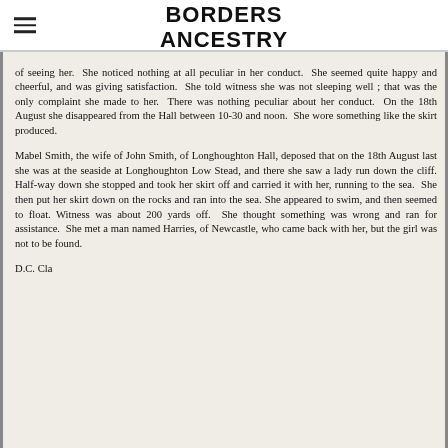BORDERS ANCESTRY
of seeing her. She noticed nothing at all peculiar in her conduct. She seemed quite happy and cheerful, and was giving satisfaction. She told witness she was not sleeping well ; that was the only complaint she made to her. There was nothing peculiar about her conduct. On the 18th August she disappeared from the Hall between 10-30 and noon. She wore something like the skirt produced. Mabel Smith, the wife of John Smith, of Longhoughton Hall, deposed that on the 18th August last she was at the seaside at Longhoughton Low Stead, and there she saw a lady run down the cliff. Half-way down she stopped and took her skirt off and carried it with her, running to the sea. She then put her skirt down on the rocks and ran into the sea. She appeared to swim, and then seemed to float. Witness was about 200 yards off. She thought something was wrong and ran for assistance. She met a man named Harries, of Newcastle, who came back with her, but the girl was not to be found. D.C. Cla... ...at Li... ...daughter stat...